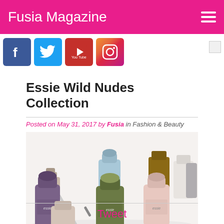Fusia Magazine
[Figure (other): Social media icons: Facebook, Twitter, YouTube, Instagram]
Essie Wild Nudes Collection
Posted on May 31, 2017 by Fusia in Fashion & Beauty
[Figure (photo): Various Essie nail polish bottles in nude and muted tones including purple, olive green, light blue, brown, pink, and grey scattered on a white surface]
Tweet